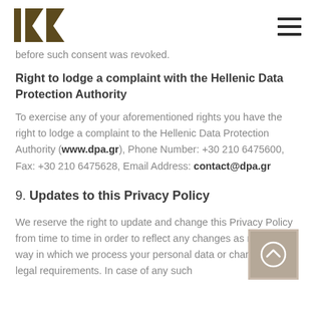IKK logo and navigation menu
before such consent was revoked.
Right to lodge a complaint with the Hellenic Data Protection Authority
To exercise any of your aforementioned rights you have the right to lodge a complaint to the Hellenic Data Protection Authority (www.dpa.gr), Phone Number: +30 210 6475600, Fax: +30 210 6475628, Email Address: contact@dpa.gr
9. Updates to this Privacy Policy
We reserve the right to update and change this Privacy Policy from time to time in order to reflect any changes as regards the way in which we process your personal data or changes to legal requirements. In case of any such